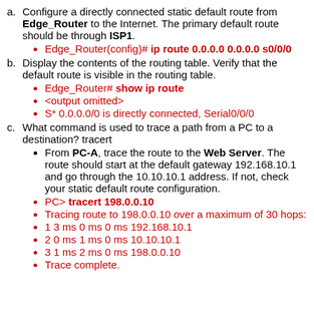a. Configure a directly connected static default route from Edge_Router to the Internet. The primary default route should be through ISP1.
Edge_Router(config)# ip route 0.0.0.0 0.0.0.0 s0/0/0
b. Display the contents of the routing table. Verify that the default route is visible in the routing table.
Edge_Router# show ip route
<output omitted>
S* 0.0.0.0/0 is directly connected, Serial0/0/0
c. What command is used to trace a path from a PC to a destination? tracert
From PC-A, trace the route to the Web Server. The route should start at the default gateway 192.168.10.1 and go through the 10.10.10.1 address. If not, check your static default route configuration.
PC> tracert 198.0.0.10
Tracing route to 198.0.0.10 over a maximum of 30 hops:
1 3 ms 0 ms 0 ms 192.168.10.1
2 0 ms 1 ms 0 ms 10.10.10.1
3 1 ms 2 ms 0 ms 198.0.0.10
Trace complete.